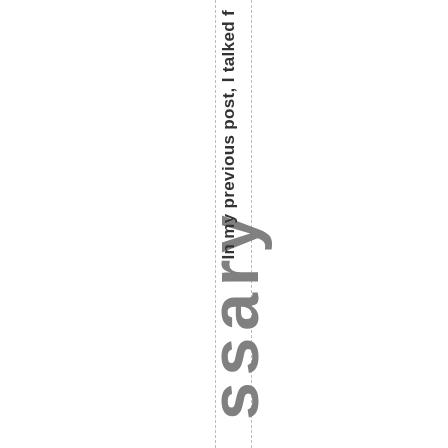ssary
In my previous post, I talked f